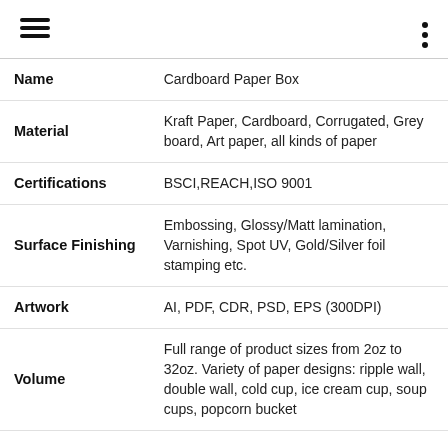Menu | Options
| Field | Value |
| --- | --- |
| Name | Cardboard Paper Box |
| Material | Kraft Paper, Cardboard, Corrugated, Grey board, Art paper, all kinds of paper |
| Certifications | BSCI,REACH,ISO 9001 |
| Surface Finishing | Embossing, Glossy/Matt lamination, Varnishing, Spot UV, Gold/Silver foil stamping etc. |
| Artwork | AI, PDF, CDR, PSD, EPS (300DPI) |
| Volume | Full range of product sizes from 2oz to 32oz. Variety of paper designs: ripple wall, double wall, cold cup, ice cream cup, soup cups, popcorn bucket |